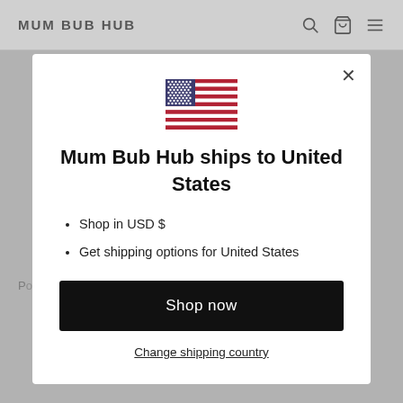MUM BUB HUB
[Figure (illustration): US flag emoji/icon centered in modal]
Mum Bub Hub ships to United States
Shop in USD $
Get shipping options for United States
Shop now
Change shipping country